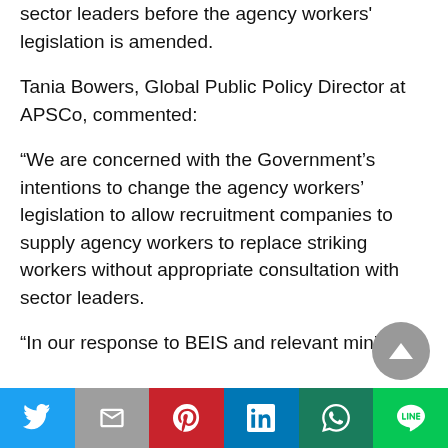sector leaders before the agency workers' legislation is amended.
Tania Bowers, Global Public Policy Director at APSCo, commented:
“We are concerned with the Government’s intentions to change the agency workers’ legislation to allow recruitment companies to supply agency workers to replace striking workers without appropriate consultation with sector leaders.
“In our response to BEIS and relevant ministers,